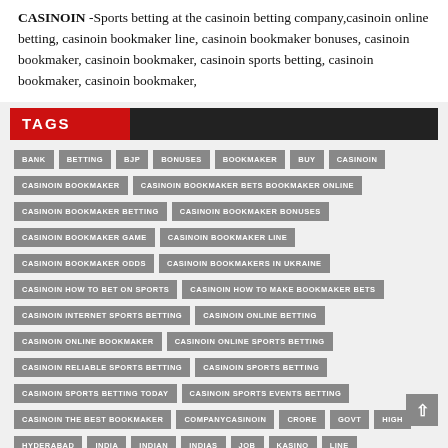CASINOIN -Sports betting at the casinoin betting company,casinoin online betting, casinoin bookmaker line, casinoin bookmaker bonuses, casinoin bookmaker, casinoin bookmaker, casinoin sports betting, casinoin bookmaker, casinoin bookmaker,
TAGS
BANK
BETTING
BJP
BONUSES
BOOKMAKER
BUY
CASINOIN
CASINOIN BOOKMAKER
CASINOIN BOOKMAKER BETS BOOKMAKER ONLINE
CASINOIN BOOKMAKER BETTING
CASINOIN BOOKMAKER BONUSES
CASINOIN BOOKMAKER GAME
CASINOIN BOOKMAKER LINE
CASINOIN BOOKMAKER ODDS
CASINOIN BOOKMAKERS IN UKRAINE
CASINOIN HOW TO BET ON SPORTS
CASINOIN HOW TO MAKE BOOKMAKER BETS
CASINOIN INTERNET SPORTS BETTING
CASINOIN ONLINE BETTING
CASINOIN ONLINE BOOKMAKER
CASINOIN ONLINE SPORTS BETTING
CASINOIN RELIABLE SPORTS BETTING
CASINOIN SPORTS BETTING
CASINOIN SPORTS BETTING TODAY
CASINOIN SPORTS EVENTS BETTING
CASINOIN THE BEST BOOKMAKER
COMPANYCASINOIN
CRORE
GOVT
HIGH
HYDERABAD
INDIA
INDIAN
INDIAS
JOB
KASINO
LINE